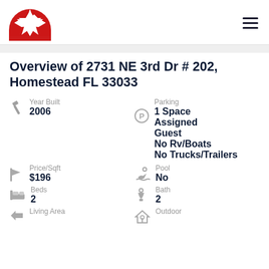[Figure (logo): Red and white Maltese cross / star logo on red semicircle background]
Overview of 2731 NE 3rd Dr # 202, Homestead FL 33033
Year Built
2006
Parking
1 Space
Assigned
Guest
No Rv/Boats
No Trucks/Trailers
Price/Sqft
$196
Pool
No
Beds
2
Bath
2
Living Area
Outdoor